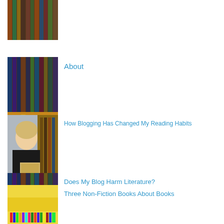[Figure (photo): Bookshelf with colorful book spines, top cropped image]
[Figure (photo): Bookshelf with colorful book spines including visible titles]
About
[Figure (photo): Woman holding a book in front of bookshelves]
How Blogging Has Changed My Reading Habits
[Figure (photo): Bookshelf with colorful book spines including visible titles]
Does My Blog Harm Literature?
[Figure (photo): Colorful bookshelf with yellow and multi-colored book spines]
Three Non-Fiction Books About Books